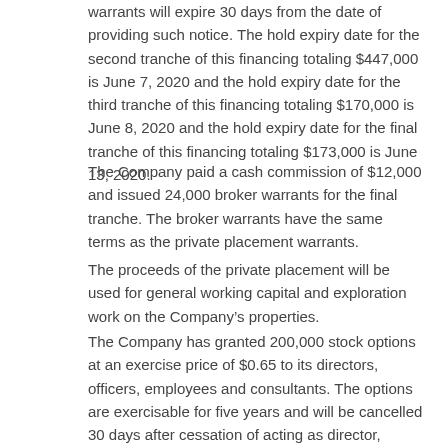warrants will expire 30 days from the date of providing such notice. The hold expiry date for the second tranche of this financing totaling $447,000 is June 7, 2020 and the hold expiry date for the third tranche of this financing totaling $170,000 is June 8, 2020 and the hold expiry date for the final tranche of this financing totaling $173,000 is June 13, 2020.
The Company paid a cash commission of $12,000 and issued 24,000 broker warrants for the final tranche. The broker warrants have the same terms as the private placement warrants.
The proceeds of the private placement will be used for general working capital and exploration work on the Company’s properties.
The Company has granted 200,000 stock options at an exercise price of $0.65 to its directors, officers, employees and consultants. The options are exercisable for five years and will be cancelled 30 days after cessation of acting as director, officer, employee or consultant of the Company. The stock options are not transferable and will be subject to a four-month hold period from the date of grant and any applicable regulatory acceptance.